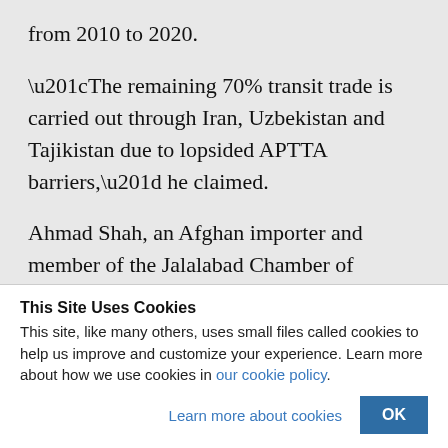from 2010 to 2020.
“The remaining 70% transit trade is carried out through Iran, Uzbekistan and Tajikistan due to lopsided APTTA barriers,” he claimed.
Ahmad Shah, an Afghan importer and member of the Jalalabad Chamber of
This Site Uses Cookies
This site, like many others, uses small files called cookies to help us improve and customize your experience. Learn more about how we use cookies in our cookie policy.
Learn more about cookies
OK